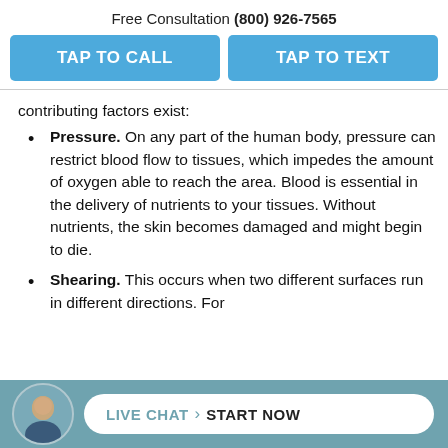Free Consultation (800) 926-7565
TAP TO CALL
TAP TO TEXT
contributing factors exist:
Pressure. On any part of the human body, pressure can restrict blood flow to tissues, which impedes the amount of oxygen able to reach the area. Blood is essential in the delivery of nutrients to your tissues. Without nutrients, the skin becomes damaged and might begin to die.
Shearing. This occurs when two different surfaces run in different directions. For
LIVE CHAT › START NOW